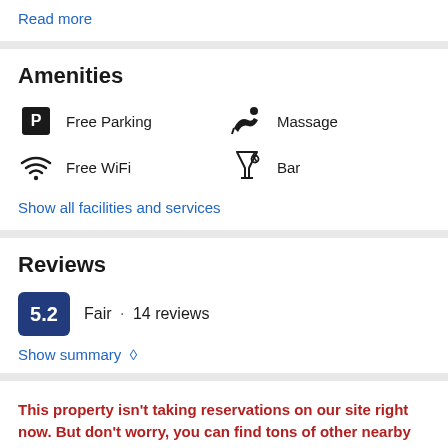Read more
Amenities
Free Parking
Massage
Free WiFi
Bar
Show all facilities and services
Reviews
5.2  Fair · 14 reviews
Show summary ◇
This property isn't taking reservations on our site right now. But don't worry, you can find tons of other nearby